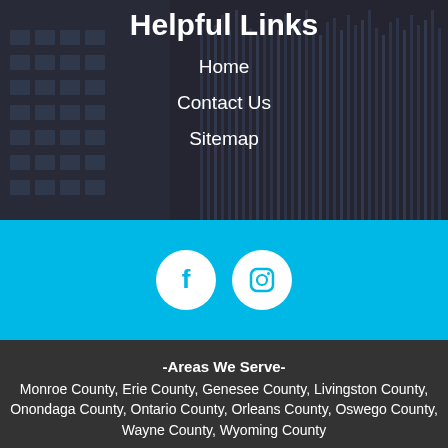Helpful Links
Home
Contact Us
Sitemap
[Figure (illustration): Social media icons: Facebook and Instagram white circles on a cyan/light blue background bar]
-Areas We Serve- Monroe County, Erie County, Genesee County, Livingston County, Onondaga County, Ontario County, Orleans County, Oswego County, Wayne County, Wyoming County